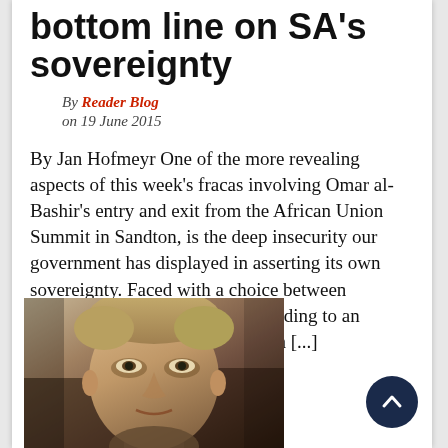bottom line on SA's sovereignty
By Reader Blog
on 19 June 2015
By Jan Hofmeyr One of the more revealing aspects of this week's fracas involving Omar al-Bashir's entry and exit from the African Union Summit in Sandton, is the deep insecurity our government has displayed in asserting its own sovereignty. Faced with a choice between adherence to our constitution, abiding to an international convention to which [...]
[Figure (photo): Close-up photo of a man with light brown/blonde hair]